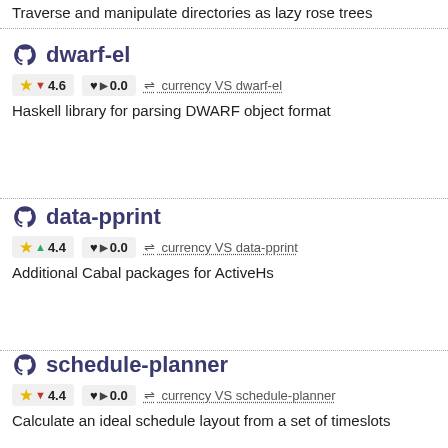Traverse and manipulate directories as lazy rose trees
dwarf-el
★ ▼ 4.6   ♥ ▶ 0.0   ⇌ currency VS dwarf-el
Haskell library for parsing DWARF object format
data-pprint
★ ▲ 4.4   ♥ ▶ 0.0   ⇌ currency VS data-pprint
Additional Cabal packages for ActiveHs
schedule-planner
★ ▼ 4.4   ♥ ▶ 0.0   ⇌ currency VS schedule-planner
Calculate an ideal schedule layout from a set of timeslots